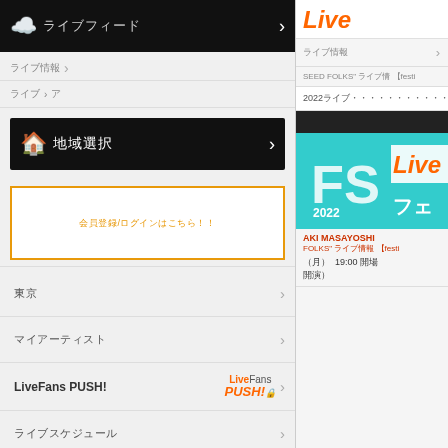ライブフィード (nav bar with cloud icon)
ライブ情報
ライブ > ア SEED FOLKS" ライブ情報 【festi
地域選択
会員登録/ログインはこちら！！
東京
マイアーティスト
LiveFans PUSH!
ライブスケジュール
地域選択
地域
Live (logo)
ライブ情報
ライブ > ア SEED FOLKS" ライブ情報 【festi
2022ライブフェスティバルフォームのフェス
AKI MASAYOSHI FOLKS" ライブ情報 【festi (月) 19:00 開場 開演)